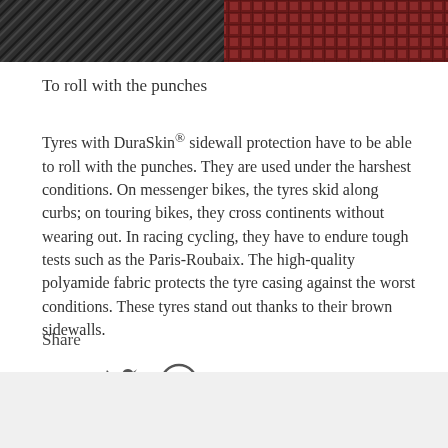[Figure (photo): Close-up image of two tyre textures side by side: diagonal ribbed dark grey tread on the left and a brick/lattice pattern dark red/brown tread on the right.]
To roll with the punches
Tyres with DuraSkin® sidewall protection have to be able to roll with the punches. They are used under the harshest conditions. On messenger bikes, the tyres skid along curbs; on touring bikes, they cross continents without wearing out. In racing cycling, they have to endure tough tests such as the Paris-Roubaix. The high-quality polyamide fabric protects the tyre casing against the worst conditions. These tyres stand out thanks to their brown sidewalls.
Share
[Figure (illustration): Three social media icons in dark grey: Facebook (f), Twitter (bird), Pinterest (p circle)]